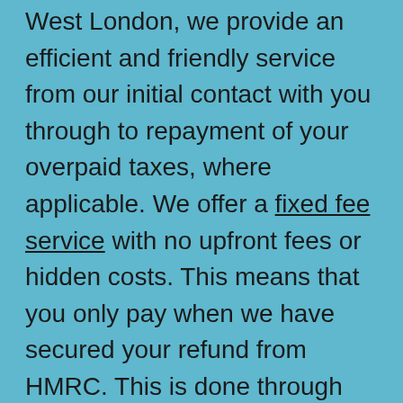West London, we provide an efficient and friendly service from our initial contact with you through to repayment of your overpaid taxes, where applicable. We offer a fixed fee service with no upfront fees or hidden costs. This means that you only pay when we have secured your refund from HMRC. This is done through our online facility which ensures a secure and speedy service. With our knowledge and expertise we are able to offer a turnkey service, preparation of accounts, completion of Self Assessment Returns and application for tax refunds.
We have gained a highly regarded reputation